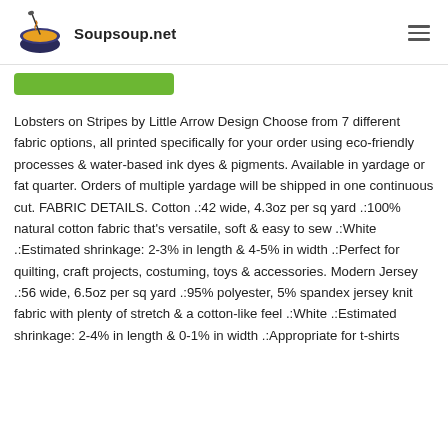Soupsoup.net
[Figure (illustration): Green rounded rectangle button below the header navigation bar]
Lobsters on Stripes by Little Arrow Design Choose from 7 different fabric options, all printed specifically for your order using eco-friendly processes & water-based ink dyes & pigments. Available in yardage or fat quarter. Orders of multiple yardage will be shipped in one continuous cut. FABRIC DETAILS. Cotton .:42 wide, 4.3oz per sq yard .:100% natural cotton fabric that's versatile, soft & easy to sew .:White .:Estimated shrinkage: 2-3% in length & 4-5% in width .:Perfect for quilting, craft projects, costuming, toys & accessories. Modern Jersey .:56 wide, 6.5oz per sq yard .:95% polyester, 5% spandex jersey knit fabric with plenty of stretch & a cotton-like feel .:White .:Estimated shrinkage: 2-4% in length & 0-1% in width .:Appropriate for t-shirts